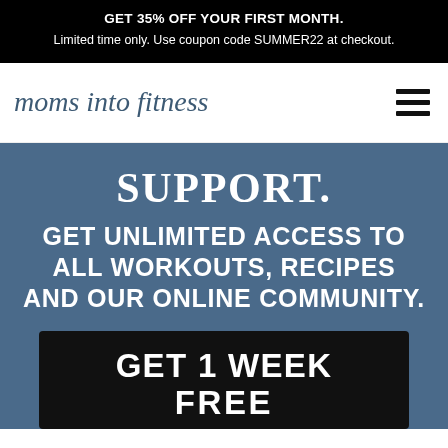GET 35% OFF YOUR FIRST MONTH. Limited time only. Use coupon code SUMMER22 at checkout.
moms into fitness
SUPPORT.
GET UNLIMITED ACCESS TO ALL WORKOUTS, RECIPES AND OUR ONLINE COMMUNITY.
GET 1 WEEK FREE